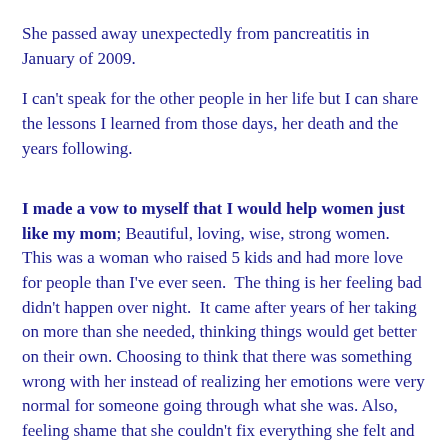She passed away unexpectedly from pancreatitis in January of 2009.
I can't speak for the other people in her life but I can share the lessons I learned from those days, her death and the years following.
I made a vow to myself that I would help women just like my mom; Beautiful, loving, wise, strong women.  This was a woman who raised 5 kids and had more love for people than I've ever seen.  The thing is her feeling bad didn't happen over night.  It came after years of her taking on more than she needed, thinking things would get better on their own.  Choosing to think that there was something wrong with her instead of realizing her emotions were very normal for someone going through what she was. Also, feeling shame that she couldn't fix everything she felt and that was happening